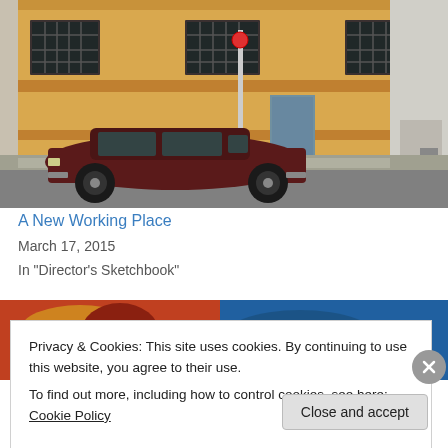[Figure (photo): Street scene showing a parked dark red/maroon sedan car in front of a yellow/beige building with barred windows and a blue door. A white building is visible on the right side.]
A New Working Place
March 17, 2015
In "Director's Sketchbook"
[Figure (photo): Partial view of colorful comic-book style artwork showing a figure with glasses/goggles.]
Privacy & Cookies: This site uses cookies. By continuing to use this website, you agree to their use.
To find out more, including how to control cookies, see here: Cookie Policy
Close and accept